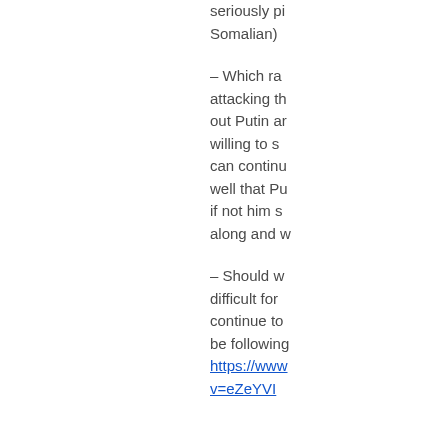seriously pi Somalian)
– Which ra attacking th out Putin ar willing to s can continu well that Pu if not him s along and w
– Should w difficult for continue to be following https://www v=eZeYVI